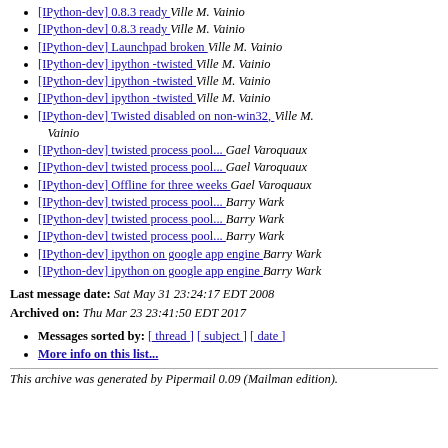[IPython-dev] 0.8.3 ready  Ville M. Vainio
[IPython-dev] 0.8.3 ready  Ville M. Vainio
[IPython-dev] Launchpad broken  Ville M. Vainio
[IPython-dev] ipython -twisted  Ville M. Vainio
[IPython-dev] ipython -twisted  Ville M. Vainio
[IPython-dev] ipython -twisted  Ville M. Vainio
[IPython-dev] Twisted disabled on non-win32,  Ville M. Vainio
[IPython-dev] twisted process pool...  Gael Varoquaux
[IPython-dev] twisted process pool...  Gael Varoquaux
[IPython-dev] Offline for three weeks  Gael Varoquaux
[IPython-dev] twisted process pool...  Barry Wark
[IPython-dev] twisted process pool...  Barry Wark
[IPython-dev] twisted process pool...  Barry Wark
[IPython-dev] ipython on google app engine  Barry Wark
[IPython-dev] ipython on google app engine  Barry Wark
Last message date: Sat May 31 23:24:17 EDT 2008
Archived on: Thu Mar 23 23:41:50 EDT 2017
Messages sorted by: [ thread ] [ subject ] [ date ]
More info on this list...
This archive was generated by Pipermail 0.09 (Mailman edition).